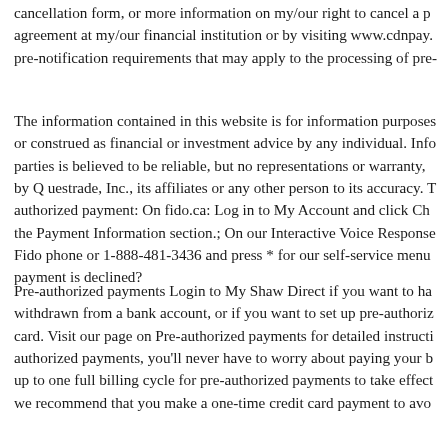cancellation form, or more information on my/our right to cancel a pre-authorized payment agreement at my/our financial institution or by visiting www.cdnpay. pre-notification requirements that may apply to the processing of pre-
The information contained in this website is for information purposes or construed as financial or investment advice by any individual. Information from third parties is believed to be reliable, but no representations or warranty, expressed or implied, is made by Q uestrade, Inc., its affiliates or any other person to its accuracy. To cancel a pre-authorized payment: On fido.ca: Log in to My Account and click Change in the Payment Information section.; On our Interactive Voice Response (IVR): Call from your Fido phone or 1-888-481-3436 and press * for our self-service menu. What happens if my payment is declined?
Pre-authorized payments Login to My Shaw Direct if you want to have your payments withdrawn from a bank account, or if you want to set up pre-authorized payments by credit card. Visit our page on Pre-authorized payments for detailed instructions. With pre-authorized payments, you'll never have to worry about paying your bill late. Please note it can take up to one full billing cycle for pre-authorized payments to take effect. In the interim, we recommend that you make a one-time credit card payment to avo